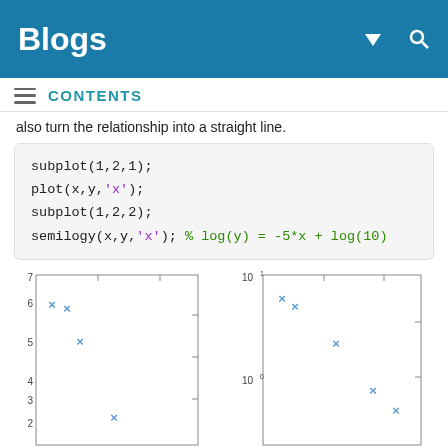Blogs
CONTENTS
also turn the relationship into a straight line.
subplot(1,2,1);
plot(x,y,'x');
subplot(1,2,2);
semilogy(x,y,'x');   % log(y) = -5*x + log(10)
[Figure (scatter-plot): Scatter plot with x markers, y-axis from ~2 to 7, showing decreasing trend]
[Figure (scatter-plot): Semilogy scatter plot with x markers, y-axis logarithmic from 10^0 to 10^1, showing decreasing trend]